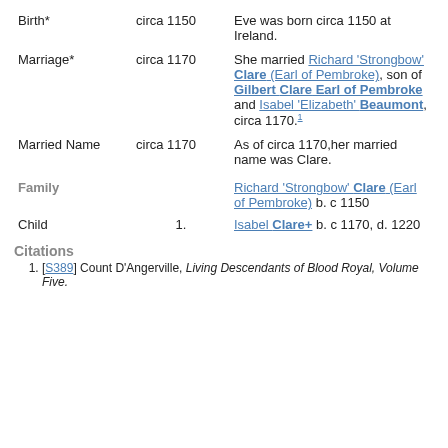| Event | Date | Description |
| --- | --- | --- |
| Birth* | circa 1150 | Eve was born circa 1150 at Ireland. |
| Marriage* | circa 1170 | She married Richard 'Strongbow' Clare (Earl of Pembroke), son of Gilbert Clare Earl of Pembroke and Isabel 'Elizabeth' Beaumont, circa 1170.1 |
| Married Name | circa 1170 | As of circa 1170,her married name was Clare. |
| Family |  | Richard 'Strongbow' Clare (Earl of Pembroke) b. c 1150 |
| Child | 1. | Isabel Clare+ b. c 1170, d. 1220 |
Citations
1. [S389] Count D'Angerville, Living Descendants of Blood Royal, Volume Five.